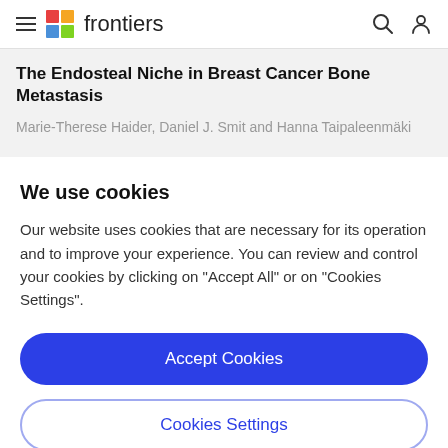frontiers
The Endosteal Niche in Breast Cancer Bone Metastasis
Marie-Therese Haider, Daniel J. Smit and Hanna Taipaleenmäki
We use cookies
Our website uses cookies that are necessary for its operation and to improve your experience. You can review and control your cookies by clicking on "Accept All" or on "Cookies Settings".
Accept Cookies
Cookies Settings